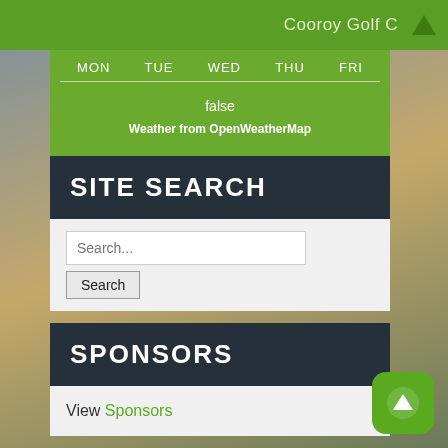Cooroy Golf C
| MON | TUE | WED | THU | FRI |
| --- | --- | --- | --- | --- |
| false |
| Weather from OpenWeatherMap |
SITE SEARCH
Search...
Search
SPONSORS
View Sponsors
WHAT'S ON
WOMEN: 2022 Cooroy Women's Open DAY –